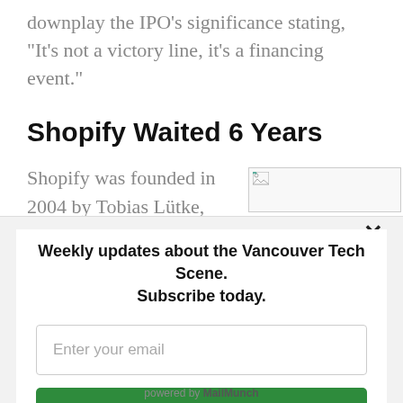downplay the IPO's significance stating, "It's not a victory line, it's a financing event."
Shopify Waited 6 Years
Shopify was founded in 2004 by Tobias Lütke, Daniel Weinand, and Scott Lake. The founders didn't take any...
[Figure (photo): Broken image placeholder (image failed to load)]
Weekly updates about the Vancouver Tech Scene. Subscribe today.
Enter your email
Subscribe
powered by MailMunch